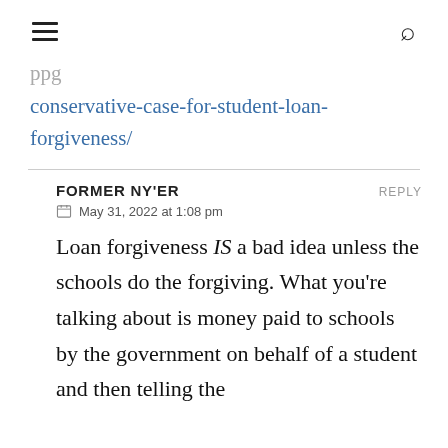≡  🔍
conservative-case-for-student-loan-forgiveness/
FORMER NY'ER   REPLY
📅 May 31, 2022 at 1:08 pm
Loan forgiveness IS a bad idea unless the schools do the forgiving. What you're talking about is money paid to schools by the government on behalf of a student and then telling the